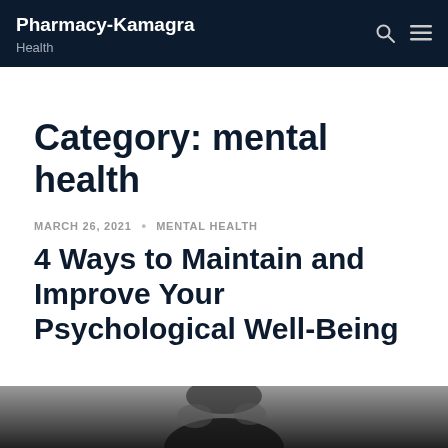Pharmacy-Kamagra
Health
Category: mental health
MARCH 26, 2021 • MENTAL HEALTH
4 Ways to Maintain and Improve Your Psychological Well-Being
[Figure (photo): Black and white photo strip at bottom of page, showing a person]